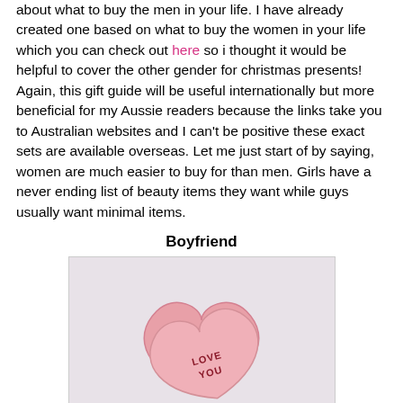about what to buy the men in your life. I have already created one based on what to buy the women in your life which you can check out here so i thought it would be helpful to cover the other gender for christmas presents! Again, this gift guide will be useful internationally but more beneficial for my Aussie readers because the links take you to Australian websites and I can't be positive these exact sets are available overseas. Let me just start of by saying, women are much easier to buy for than men. Girls have a never ending list of beauty items they want while guys usually want minimal items.
Boyfriend
[Figure (photo): A pink heart-shaped box with lid ajar, displaying 'LOVE YOU' text on the lid, with dark red interior visible.]